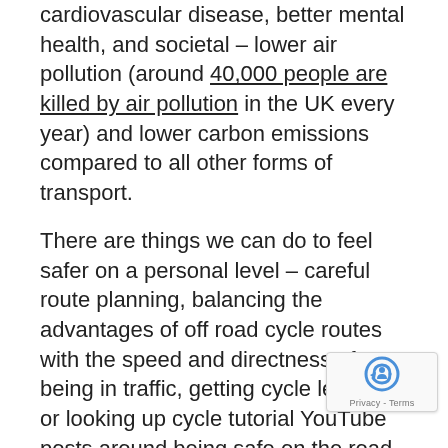cardiovascular disease, better mental health, and societal – lower air pollution (around 40,000 people are killed by air pollution in the UK every year) and lower carbon emissions compared to all other forms of transport.
There are things we can do to feel safer on a personal level – careful route planning, balancing the advantages of off road cycle routes with the speed and directness of being in traffic, getting cycle lessons or looking up cycle tutorial YouTube posts around being safe on the road (British Cycling have a great series of videos on this) or joining a cycling group to get your confidence up.
But beyond individual choice, and beyond placing the responsibility on individual women, as a society we need to step up and do more. Driver education needs to focus on vulnerable road users and appropriate conduct around them, with stricter penalties for dangerous driving. In most of Europe, road traffic...